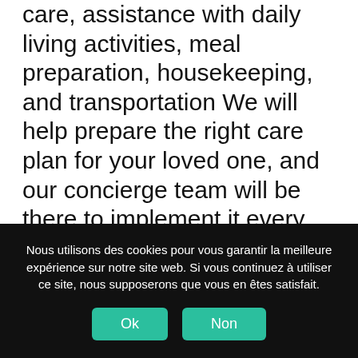care, assistance with daily living activities, meal preparation, housekeeping, and transportation We will help prepare the right care plan for your loved one, and our concierge team will be there to implement it every step of the way.Advertise in retirement community newspapers.We have a portfolio of over 300 business plans—all of which have been crafted by bringing together years of learning But if you've ever wanted to start a home health care business and you need to write a business plan to get funding then our Hybrid DIY Business
Nous utilisons des cookies pour vous garantir la meilleure expérience sur notre site web. Si vous continuez à utiliser ce site, nous supposerons que vous en êtes satisfait.